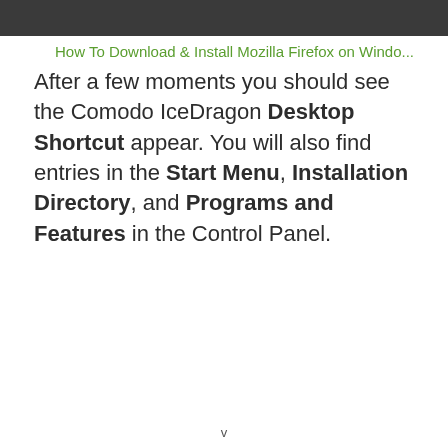[Figure (screenshot): Dark browser/application title bar at the top of the page]
How To Download & Install Mozilla Firefox on Windo...
After a few moments you should see the Comodo IceDragon Desktop Shortcut appear. You will also find entries in the Start Menu, Installation Directory, and Programs and Features in the Control Panel.
v